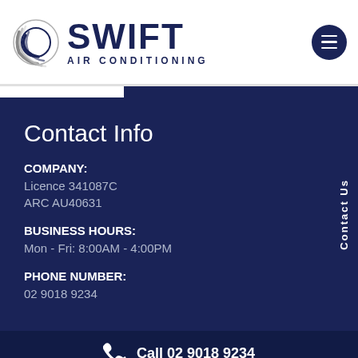[Figure (logo): Swift Air Conditioning logo with circular swoosh icon and bold dark navy text reading SWIFT AIR CONDITIONING]
Contact Info
COMPANY:
Licence 341087C
ARC AU40631
BUSINESS HOURS:
Mon - Fri: 8:00AM - 4:00PM
PHONE NUMBER:
02 9018 9234
Call 02 9018 9234